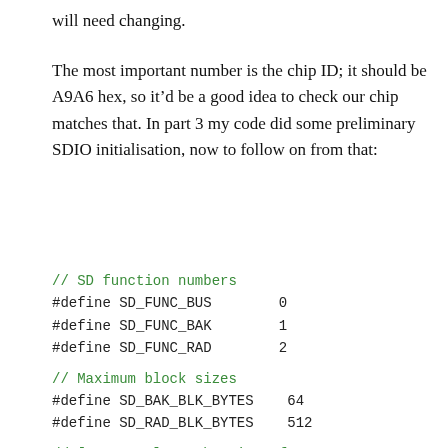will need changing.
The most important number is the chip ID; it should be A9A6 hex, so it’d be a good idea to check our chip matches that. In part 3 my code did some preliminary SDIO initialisation, now to follow on from that:
// SD function numbers
#define SD_FUNC_BUS        0
#define SD_FUNC_BAK        1
#define SD_FUNC_RAD        2

// Maximum block sizes
#define SD_BAK_BLK_BYTES   64
#define SD_RAD_BLK_BYTES   512

// [0.243831] Set bus interface
sdio_cmd52_writes(SD_FUNC_BUS,  BUS_SPEED
sdio_cmd52_writes(SD_FUNC_BUS,  BUS_BI_C1
// [17.999101] Set block sizes